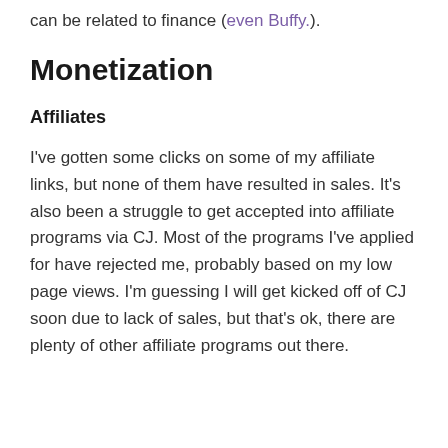can be related to finance (even Buffy.).
Monetization
Affiliates
I've gotten some clicks on some of my affiliate links, but none of them have resulted in sales. It's also been a struggle to get accepted into affiliate programs via CJ. Most of the programs I've applied for have rejected me, probably based on my low page views. I'm guessing I will get kicked off of CJ soon due to lack of sales, but that's ok, there are plenty of other affiliate programs out there.